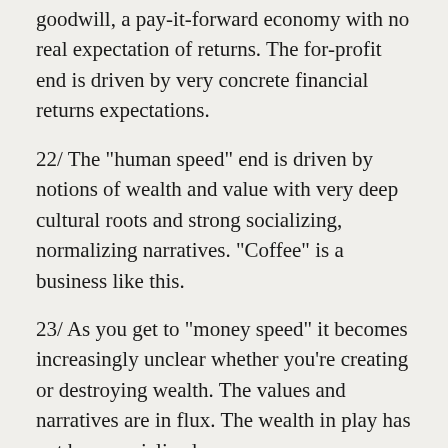goodwill, a pay-it-forward economy with no real expectation of returns. The for-profit end is driven by very concrete financial returns expectations.
22/ The "human speed" end is driven by notions of wealth and value with very deep cultural roots and strong socializing, normalizing narratives. "Coffee" is a business like this.
23/ As you get to "money speed" it becomes increasingly unclear whether you're creating or destroying wealth. The values and narratives are in flux. The wealth in play has not been socialized.
24/ It can be hard to navigate the external landscape of financial and other resources, since it changes all the time, and gets reshaped by technology.
25/ This...